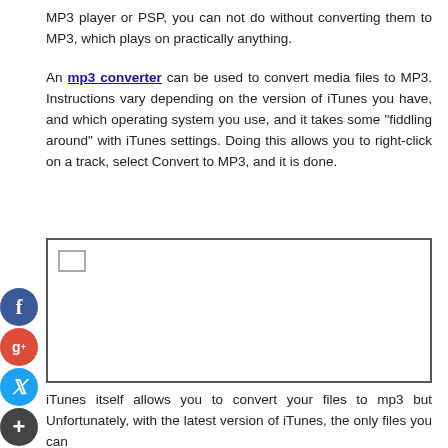MP3 player or PSP, you can not do without converting them to MP3, which plays on practically anything.
An mp3 converter can be used to convert media files to MP3. Instructions vary depending on the version of iTunes you have, and which operating system you use, and it takes some "fiddling around" with iTunes settings. Doing this allows you to right-click on a track, select Convert to MP3, and it is done.
[Figure (other): A bordered image placeholder box with a small checkbox icon in the upper left corner. Social media sharing icons (Facebook, Google+, Twitter, Add) are displayed vertically on the left side.]
iTunes itself allows you to convert your files to mp3 but Unfortunately, with the latest version of iTunes, the only files you can